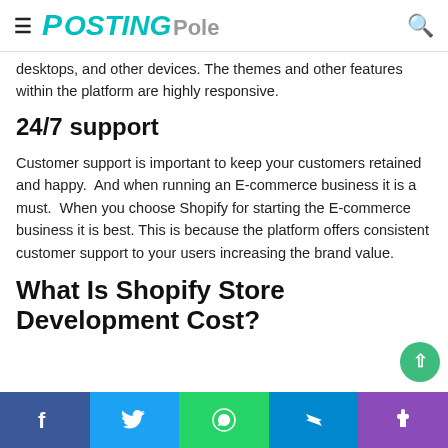PostingPole
desktops, and other devices. The themes and other features within the platform are highly responsive.
24/7 support
Customer support is important to keep your customers retained and happy.  And when running an E-commerce business it is a must.  When you choose Shopify for starting the E-commerce business it is best. This is because the platform offers consistent customer support to your users increasing the brand value.
What Is Shopify Store Development Cost?
Social share bar: Facebook, Twitter, WhatsApp, Telegram, Phone